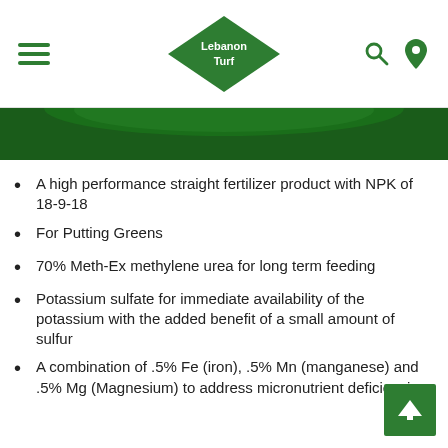LebanonTurf
[Figure (photo): Top portion of a dark green LebanonTurf fertilizer product bag]
A high performance straight fertilizer product with NPK of 18-9-18
For Putting Greens
70% Meth-Ex methylene urea for long term feeding
Potassium sulfate for immediate availability of the potassium with the added benefit of a small amount of sulfur
A combination of .5% Fe (iron), .5% Mn (manganese) and .5% Mg (Magnesium) to address micronutrient deficiencies